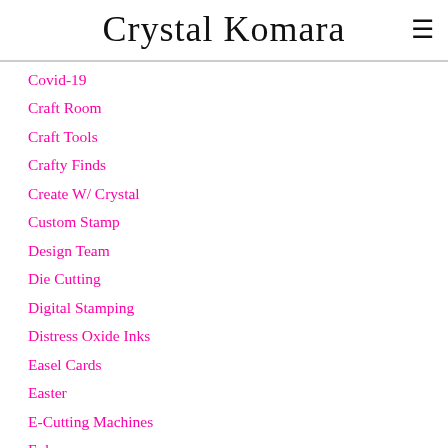Crystal Komara
Covid-19
Craft Room
Craft Tools
Crafty Finds
Create W/ Crystal
Custom Stamp
Design Team
Die Cutting
Digital Stamping
Distress Oxide Inks
Easel Cards
Easter
E-Cutting Machines
Ephemera
Events
Facebook Live
Fall/Autumn